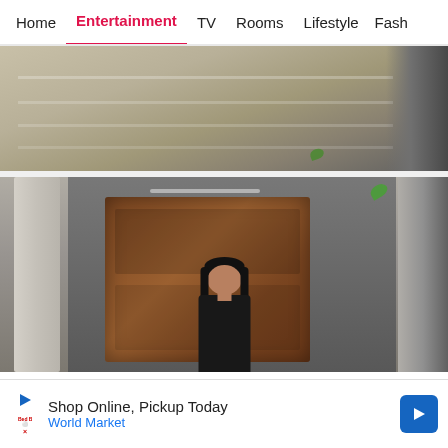Home  Entertainment  TV  Rooms  Lifestyle  Fash
[Figure (photo): Top image showing stone/concrete architectural surface with columns, partial view cut off at bottom]
[Figure (photo): Photo of a young woman with dark hair looking down, standing in front of a large wooden door flanked by stone columns]
[Figure (infographic): Row of social sharing icons: WhatsApp (green), Facebook (blue), Twitter (light blue), Chat/comments (red/pink)]
Shop Online, Pickup Today
World Market